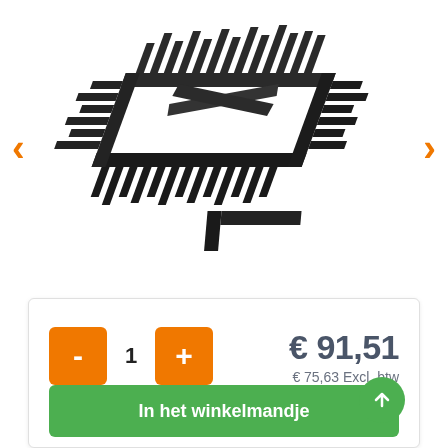[Figure (photo): Black metal cable management tray / organizer bracket with interlocking comb-like slots, viewed from above at an angle. Dark background product on white background.]
- 1 +
€ 91,51
€ 75,63 Excl. btw
In het winkelmandje